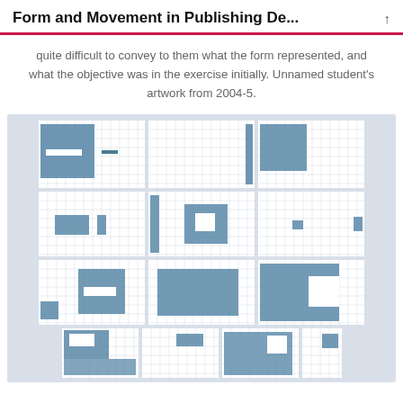Form and Movement in Publishing De...
quite difficult to convey to them what the form represented, and what the objective was in the exercise initially. Unnamed student's artwork from 2004-5.
[Figure (illustration): Grid of student artwork panels showing blue rectangular shapes and grid paper compositions arranged in a 4-row layout on a light blue-grey background. Each panel contains arrangements of blue painted blocks and white/grid areas.]